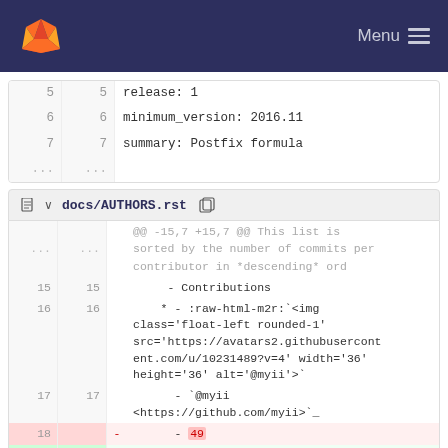GitLab navigation bar with logo and Menu
| old | new | content |
| --- | --- | --- |
| 5 | 5 | release: 1 |
| 6 | 6 | minimum_version: 2016.11 |
| 7 | 7 | summary: Postfix formula |
| ... | ... |  |
docs/AUTHORS.rst
| old | new | sign | content |
| --- | --- | --- | --- |
| ... | ... |  | @@ -15,7 +15,7 @@ This list is sorted by the number of commits per contributor in *descending* ord |
| 15 | 15 |  |     - Contributions |
| 16 | 16 |  |     * - :raw-html-m2r:`<img class='float-left rounded-1' src='https://avatars2.githubusercontent.com/u/10231489?v=4' width='36' height='36' alt='@myii'>` |
| 17 | 17 |  |       - `@myii <https://github.com/myii>`_ |
| 18 |  | - |       - 49 |
|  | 18 | + |       - 53 |